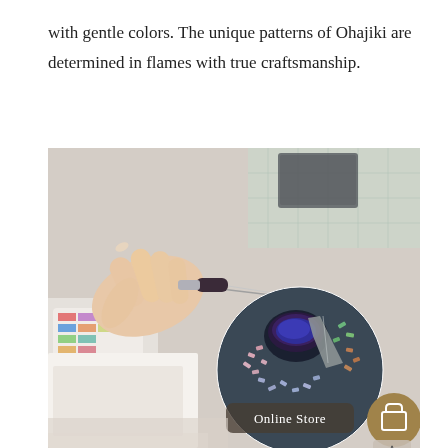with gentle colors. The unique patterns of Ohajiki are determined in flames with true craftsmanship.
[Figure (photo): A hand holding a thin crafting tool/needle with a small bead or glass piece at the tip. In the lower right area, a circular inset image shows colorful glass beads/ohajiki pieces scattered on a dark surface with a small dark bowl. An 'Online Store' button overlay and a shopping cart icon button are visible at the bottom right.]